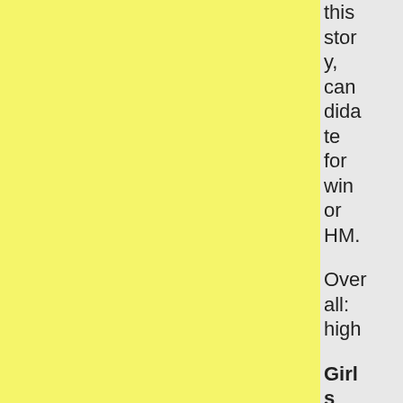this story, candidate for win or HM.
Overall: high
Girls Night In
I don't